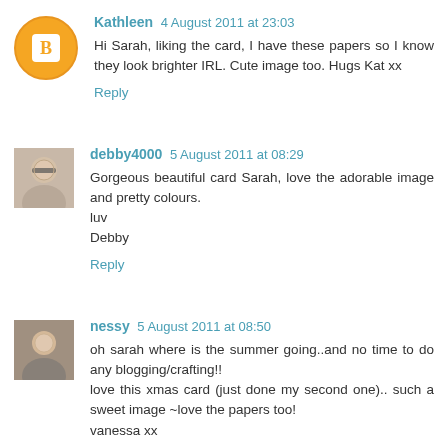[Figure (illustration): Blogger avatar icon - orange circle with white 'B' letter]
Kathleen 4 August 2011 at 23:03
Hi Sarah, liking the card, I have these papers so I know they look brighter IRL. Cute image too. Hugs Kat xx
Reply
[Figure (photo): Profile photo of debby4000 - woman with glasses]
debby4000 5 August 2011 at 08:29
Gorgeous beautiful card Sarah, love the adorable image and pretty colours.
luv
Debby
Reply
[Figure (photo): Profile photo of nessy - woman]
nessy 5 August 2011 at 08:50
oh sarah where is the summer going..and no time to do any blogging/crafting!!
love this xmas card (just done my second one).. such a sweet image ~love the papers too!
vanessa xx